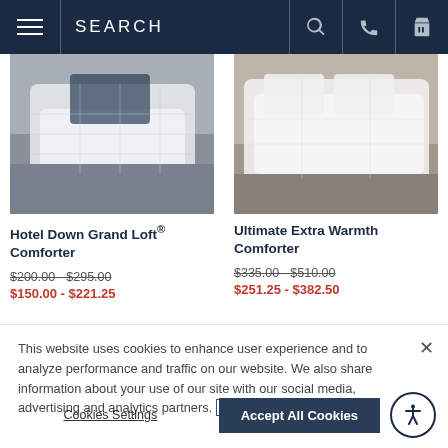SEARCH
[Figure (photo): Hotel Down Grand Loft Comforter product photo — white comforter with dark accent on bed]
Hotel Down Grand Loft® Comforter
$200.00 - $295.00
$150.00 - $221.25
[Figure (photo): Ultimate Extra Warmth Comforter product photo — all-white comforter on bed]
Ultimate Extra Warmth Comforter
$335.00 - $510.00
$251.25 - $382.50
This website uses cookies to enhance user experience and to analyze performance and traffic on our website. We also share information about your use of our site with our social media, advertising and analytics partners. Cookie Policy
Cookies Settings
Accept All Cookies